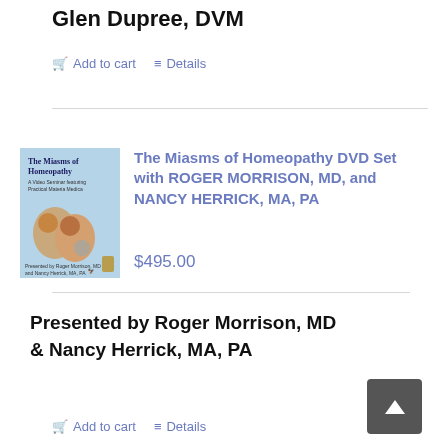Glen Dupree, DVM
🛒 Add to cart   ≡ Details
[Figure (illustration): Book/DVD cover image for 'The Miasms of Homeopathy' with blue background and photos of presenters]
The Miasms of Homeopathy DVD Set with ROGER MORRISON, MD, and NANCY HERRICK, MA, PA
$495.00
Presented by Roger Morrison, MD & Nancy Herrick, MA, PA
🛒 Add to cart   ≡ Details